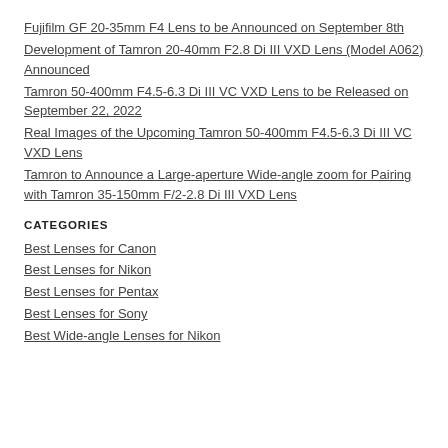Fujifilm GF 20-35mm F4 Lens to be Announced on September 8th
Development of Tamron 20-40mm F2.8 Di III VXD Lens (Model A062) Announced
Tamron 50-400mm F4.5-6.3 Di III VC VXD Lens to be Released on September 22, 2022
Real Images of the Upcoming Tamron 50-400mm F4.5-6.3 Di III VC VXD Lens
Tamron to Announce a Large-aperture Wide-angle zoom for Pairing with Tamron 35-150mm F/2-2.8 Di III VXD Lens
CATEGORIES
Best Lenses for Canon
Best Lenses for Nikon
Best Lenses for Pentax
Best Lenses for Sony
Best Wide-angle Lenses for Nikon